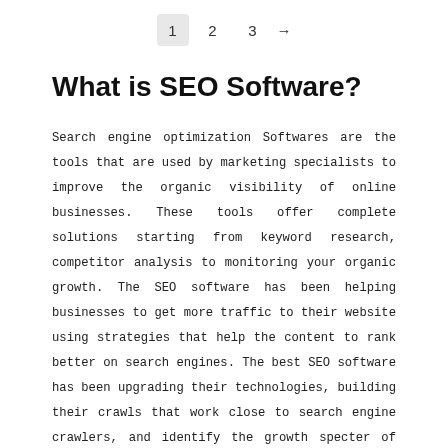1  2  3  →
What is SEO Software?
Search engine optimization Softwares are the tools that are used by marketing specialists to improve the organic visibility of online businesses. These tools offer complete solutions starting from keyword research, competitor analysis to monitoring your organic growth. The SEO software has been helping businesses to get more traffic to their website using strategies that help the content to rank better on search engines. The best SEO software has been upgrading their technologies, building their crawls that work close to search engine crawlers, and identify the growth specter of every